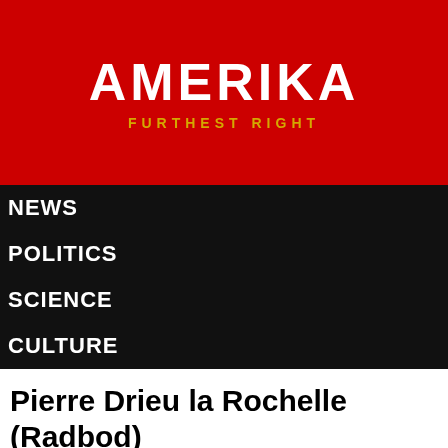AMERIKA
FURTHEST RIGHT
NEWS
POLITICS
SCIENCE
CULTURE
Pierre Drieu la Rochelle (Radbod)
by Enda Miller on August 10, 1970